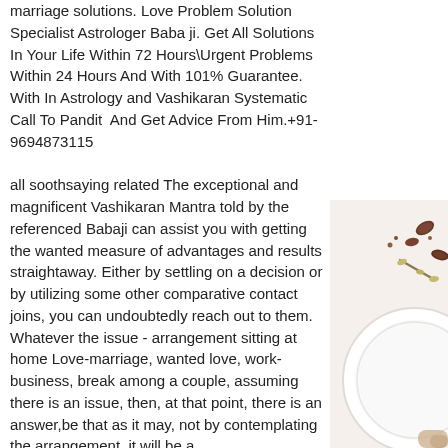marriage solutions. Love Problem Solution Specialist Astrologer Baba ji. Get All Solutions In Your Life Within 72 Hours\Urgent Problems Within 24 Hours And With 101% Guarantee. With In Astrology and Vashikaran Systematic Call To Pandit  And Get Advice From Him.+91-9694873115
all soothsaying related The exceptional and magnificent Vashikaran Mantra told by the referenced Babaji can assist you with getting the wanted measure of advantages and results straightaway. Either by settling on a decision or by utilizing some other comparative contact joins, you can undoubtedly reach out to them. Whatever the issue - arrangement sitting at home Love-marriage, wanted love, work-business, break among a couple, assuming there is an issue, then, at that point, there is an answer,be that as it may, not by contemplating the arrangement, it will be a
[Figure (photo): Partial image of a white plate with nuts/spices scattered nearby, visible on the right side of the page]